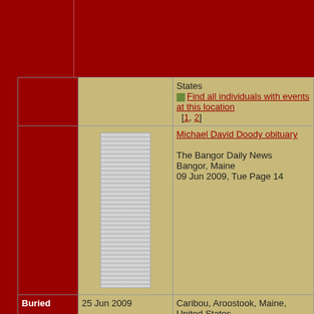| Event | Date | Detail |
| --- | --- | --- |
|  |  | States
Find all individuals with events at this location
[1, 2] |
|  |  | Michael David Doody obituary

The Bangor Daily News
Bangor, Maine
09 Jun 2009, Tue Page 14 |
| Buried | 25 Jun 2009 | Caribou, Aroostook, Maine, United States
Find all individuals with events at this location
[1, 2] |
|  |  | Address:
Northern Maine Veterans Cemeyery |
|  |  | SP4 Michael David 7 Constance Lee (Bennett) Doody columbarium military marker

MICHAEL D DOODY
SP4 USA
VIETNAM |